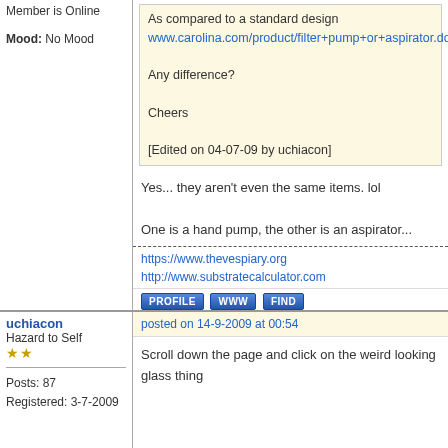Member is Online
Mood: No Mood
As compared to a standard design www.carolina.com/product/filter+pump+or+aspirator.do?
Any difference?
Cheers
[Edited on 04-07-09 by uchiacon]
Yes... they aren't even the same items. lol
One is a hand pump, the other is an aspirator...
https://www.thevespiary.org
http://www.substratecalculator.com
PROFILE  WWW  FIND
uchiacon
Hazard to Self
★★
Posts: 87
Registered: 3-7-2009
posted on 14-9-2009 at 00:54
Scroll down the page and click on the weird looking glass thing